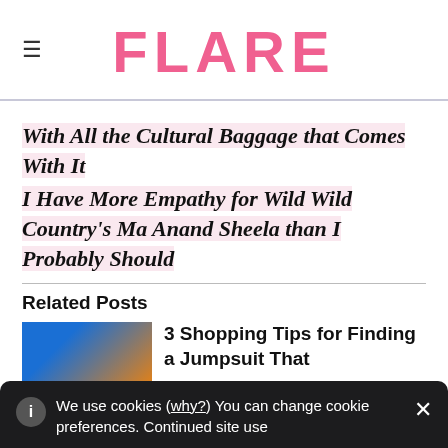FLARE
With All the Cultural Baggage that Comes With It
I Have More Empathy for Wild Wild Country's Ma Anand Sheela than I Probably Should
Related Posts
3 Shopping Tips for Finding a Jumpsuit That
We use cookies (why?) You can change cookie preferences. Continued site use